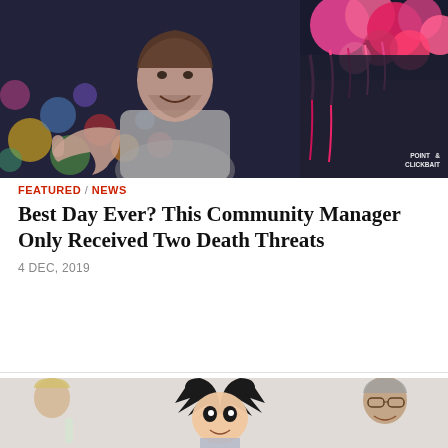[Figure (photo): Man giving thumbs up in front of colorful balloons background, with Point & Clickbait watermark in bottom right]
FEATURED / NEWS
Best Day Ever? This Community Manager Only Received Two Death Threats
4 DEC, 2019
[Figure (photo): Party scene with people socializing; an anime character (Goku from Dragon Ball) superimposed in the center among the real people]